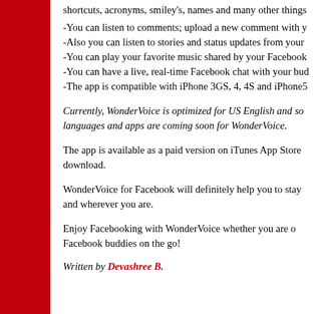shortcuts, acronyms, smiley's, names and many other things
-You can listen to comments; upload a new comment with y
-Also you can listen to stories and status updates from your
-You can play your favorite music shared by your Facebook
-You can have a live, real-time Facebook chat with your bud
-The app is compatible with iPhone 3GS, 4, 4S and iPhone5
Currently, WonderVoice is optimized for US English and so languages and apps are coming soon for WonderVoice.
The app is available as a paid version on iTunes App Store download.
WonderVoice for Facebook will definitely help you to stay and wherever you are.
Enjoy Facebooking with WonderVoice whether you are o Facebook buddies on the go!
Written by Devashree B.